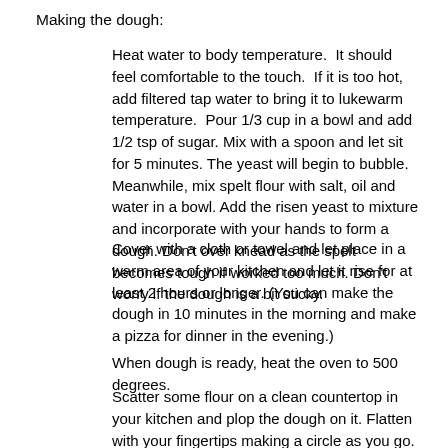Making the dough:
Heat water to body temperature.  It should feel comfortable to the touch.  If it is too hot, add filtered tap water to bring it to lukewarm temperature.  Pour 1/3 cup in a bowl and add 1/2 tsp of sugar. Mix with a spoon and let sit for 5 minutes. The yeast will begin to bubble. Meanwhile, mix spelt flour with salt, oil and water in a bowl. Add the risen yeast to mixture and incorporate with your hands to form a dough. Don't over knead as the spelt becomes tough if worked too much. Don't worry if the dough is a bit sticky.
Cover with a cloth or towel and let place in a warm area of your kitchen and let it rise for at least 2 hours or longer. (You can make the dough in 10 minutes in the morning and make a pizza for dinner in the evening.)
When dough is ready, heat the oven to 500 degrees.
Scatter some flour on a clean countertop in your kitchen and plop the dough on it. Flatten with your fingertips making a circle as you go. You can also use a rolling pin but don't press